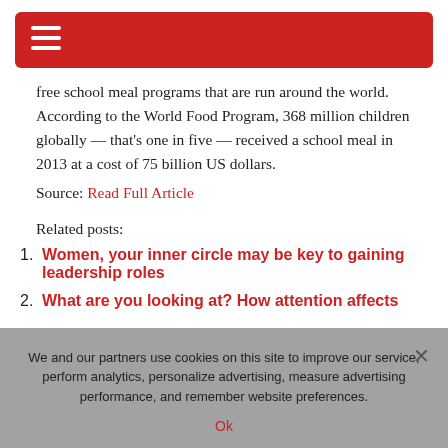≡
free school meal programs that are run around the world. According to the World Food Program, 368 million children globally — that's one in five — received a school meal in 2013 at a cost of 75 billion US dollars.
Source: Read Full Article
Related posts:
1. Women, your inner circle may be key to gaining leadership roles
2. What are you looking at? How attention affects
We and our partners use cookies on this site to improve our service, perform analytics, personalize advertising, measure advertising performance, and remember website preferences.
Ok